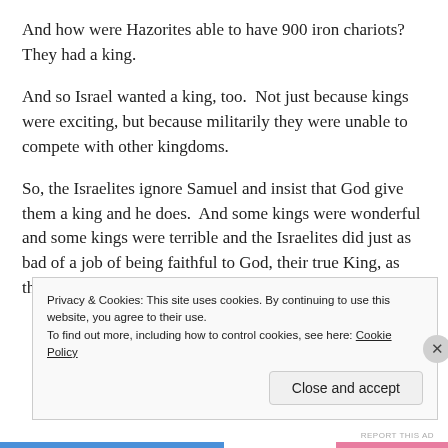And how were Hazorites able to have 900 iron chariots? They had a king.
And so Israel wanted a king, too.  Not just because kings were exciting, but because militarily they were unable to compete with other kingdoms.
So, the Israelites ignore Samuel and insist that God give them a king and he does.  And some kings were wonderful and some kings were terrible and the Israelites did just as bad of a job of being faithful to God, their true King, as they always did.
Privacy & Cookies: This site uses cookies. By continuing to use this website, you agree to their use.
To find out more, including how to control cookies, see here: Cookie Policy
Close and accept